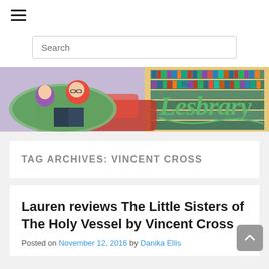[Figure (illustration): Hamburger/menu icon with three horizontal lines]
Search
[Figure (illustration): The Lesbrary banner image showing two illustrated women reading a book on a couch with a bookshelf behind them and stylized text reading 'The Lesbrary']
TAG ARCHIVES: VINCENT CROSS
Lauren reviews The Little Sisters of The Holy Vessel by Vincent Cross
Posted on November 12, 2016 by Danika Ellis